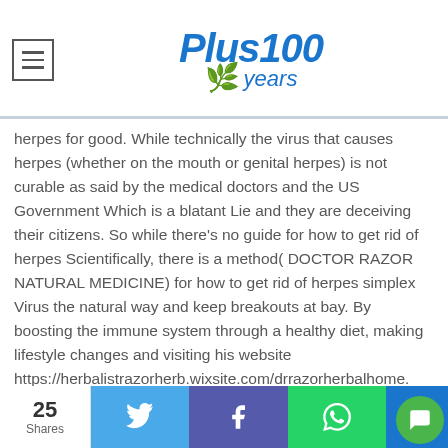Plus100 years
herpes for good. While technically the virus that causes herpes (whether on the mouth or genital herpes) is not curable as said by the medical doctors and the US Government Which is a blatant Lie and they are deceiving their citizens. So while there's no guide for how to get rid of herpes Scientifically, there is a method( DOCTOR RAZOR NATURAL MEDICINE) for how to get rid of herpes simplex Virus the natural way and keep breakouts at bay. By boosting the immune system through a healthy diet, making lifestyle changes and visiting his website https://herbalistrazorherb.wixsite.com/drrazorherbalhome. Reach Herbalist Razor today on Email :
25 Shares